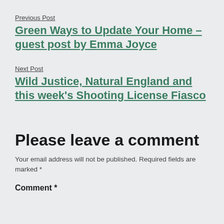Previous Post
Green Ways to Update Your Home – guest post by Emma Joyce
Next Post
Wild Justice, Natural England and this week's Shooting License Fiasco
Please leave a comment
Your email address will not be published. Required fields are marked *
Comment *